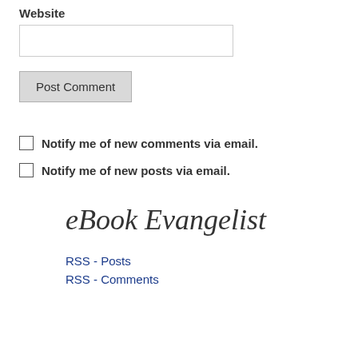Website
Post Comment
Notify me of new comments via email.
Notify me of new posts via email.
eBook Evangelist
RSS - Posts
RSS - Comments